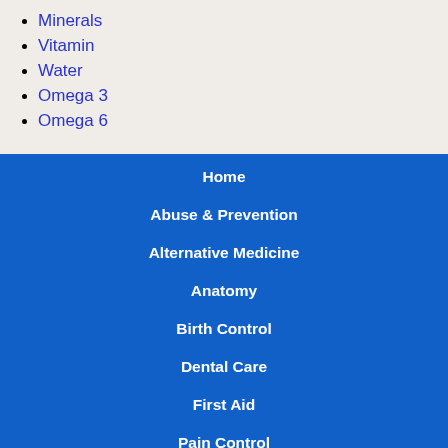Minerals
Vitamin
Water
Omega 3
Omega 6
Home
Abuse & Prevention
Alternative Medicine
Anatomy
Birth Control
Dental Care
First Aid
Pain Control